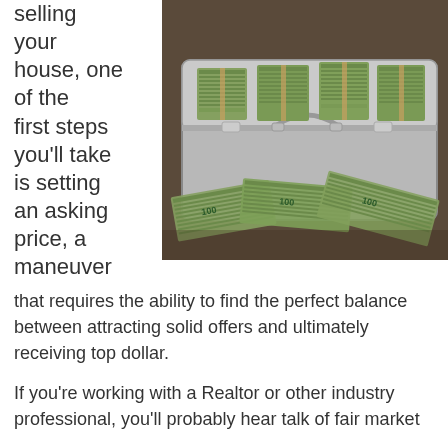selling your house, one of the first steps you'll take is setting an asking price, a maneuver
[Figure (photo): An open metal briefcase filled with stacks of US $100 bills, with additional bills scattered in front of it on a dark surface.]
that requires the ability to find the perfect balance between attracting solid offers and ultimately receiving top dollar.
If you're working with a Realtor or other industry professional, you'll probably hear talk of fair market